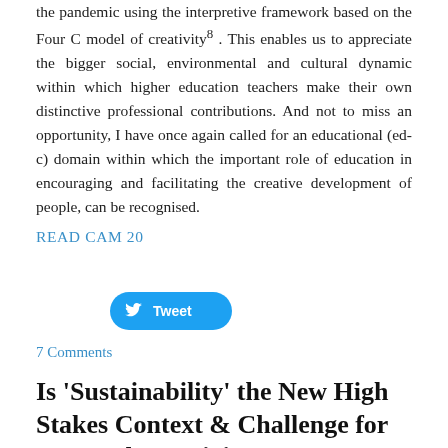the pandemic using the interpretive framework based on the Four C model of creativity8 . This enables us to appreciate the bigger social, environmental and cultural dynamic within which higher education teachers make their own distinctive professional contributions. And not to miss an opportunity, I have once again called for an educational (ed-c) domain within which the important role of education in encouraging and facilitating the creative development of people, can be recognised.
READ CAM 20
[Figure (other): Twitter Tweet button with bird logo]
7 Comments
Is 'Sustainability' the New High Stakes Context & Challenge for Personal Creativity?